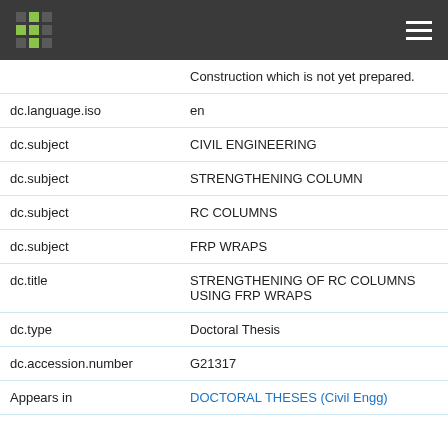Repository header navigation bar
| Field | Value | Language |
| --- | --- | --- |
|  | Construction which is not yet prepared. |  |
| dc.language.iso | en | en_ |
| dc.subject | CIVIL ENGINEERING | en_ |
| dc.subject | STRENGTHENING COLUMN | en_ |
| dc.subject | RC COLUMNS | en_ |
| dc.subject | FRP WRAPS | en_ |
| dc.title | STRENGTHENING OF RC COLUMNS USING FRP WRAPS | en_ |
| dc.type | Doctoral Thesis | en_ |
| dc.accession.number | G21317 | en_ |
| Appears in | DOCTORAL THESES (Civil Engg) |  |